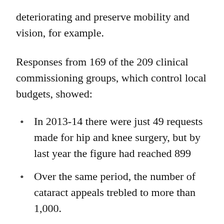deteriorating and preserve mobility and vision, for example.
Responses from 169 of the 209 clinical commissioning groups, which control local budgets, showed:
In 2013-14 there were just 49 requests made for hip and knee surgery, but by last year the figure had reached 899
Over the same period, the number of cataract appeals trebled to more than 1,000.
Overall the number of requests being